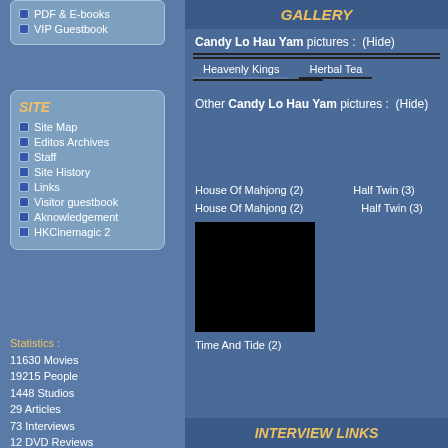PDF & E-books
VIP Guestbook
SITE
Site Map
Editos Archives
Staff
Site History
Links
Visitor guestbook
Aknowledgement
HKCinemagic 2
Statistics :
11630 Movies
19215 People
1448 Studios
29 Articles
73 Interviews
12 DVD Reviews
32452 Screenshots
3722 Videos
GALLERY
Candy Lo Hau Yam pictures : (Hide)
Heavenly Kings
Herbal Tea
Other Candy Lo Hau Yam pictures : (Hide)
House Of Mahjong (2)
Half Twin (3)
[Figure (photo): Black thumbnail image for Time And Tide (2)]
Time And Tide (2)
INTERVIEW LINKS